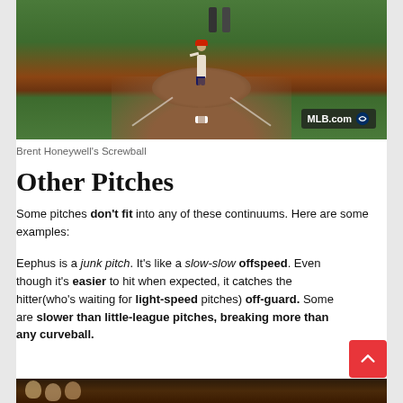[Figure (photo): Baseball pitcher standing on the mound at a professional MLB stadium, with catcher and umpire visible in background. MLB.com watermark in bottom right.]
Brent Honeywell's Screwball
Other Pitches
Some pitches don't fit into any of these continuums. Here are some examples:
Eephus is a junk pitch. It's like a slow-slow offspeed. Even though it's easier to hit when expected, it catches the hitter(who's waiting for light-speed pitches) off-guard. Some are slower than little-league pitches, breaking more than any curveball.